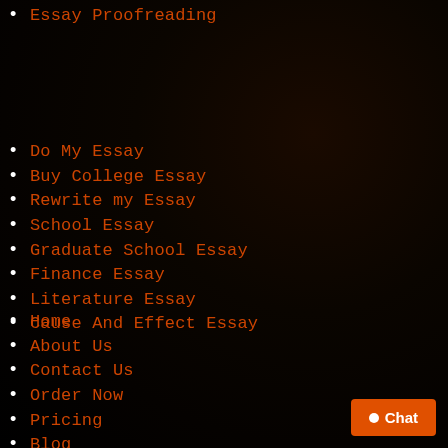Essay Proofreading
Do My Essay
Buy College Essay
Rewrite my Essay
School Essay
Graduate School Essay
Finance Essay
Literature Essay
Cause And Effect Essay
Home
About Us
Contact Us
Order Now
Pricing
Blog
Terms and Conditions